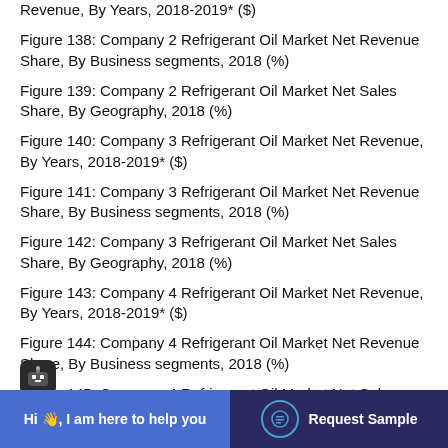Revenue, By Years, 2018-2019* ($)
Figure 138: Company 2 Refrigerant Oil Market Net Revenue Share, By Business segments, 2018 (%)
Figure 139: Company 2 Refrigerant Oil Market Net Sales Share, By Geography, 2018 (%)
Figure 140: Company 3 Refrigerant Oil Market Net Revenue, By Years, 2018-2019* ($)
Figure 141: Company 3 Refrigerant Oil Market Net Revenue Share, By Business segments, 2018 (%)
Figure 142: Company 3 Refrigerant Oil Market Net Sales Share, By Geography, 2018 (%)
Figure 143: Company 4 Refrigerant Oil Market Net Revenue, By Years, 2018-2019* ($)
Figure 144: Company 4 Refrigerant Oil Market Net Revenue Share, By Business segments, 2018 (%)
Figure 145: Company 4 Refrigerant Oil Market Net Sales